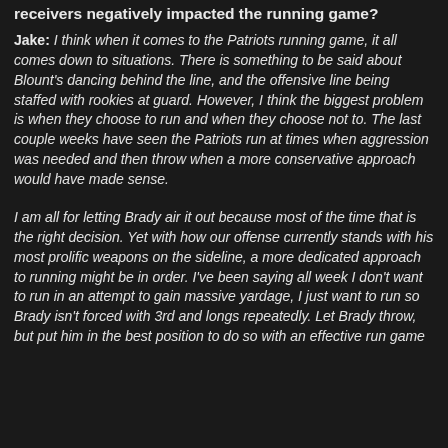receivers negatively impacted the running game?
Jake: I think when it comes to the Patriots running game, it all comes down to situations. There is something to be said about Blount's dancing behind the line, and the offensive line being staffed with rookies at guard. However, I think the biggest problem is when they choose to run and when they choose not to. The last couple weeks have seen the Patriots run at times when aggression was needed and then throw when a more conservative approach would have made sense.
I am all for letting Brady air it out because most of the time that is the right decision. Yet with how our offense currently stands with his most prolific weapons on the sideline, a more dedicated approach to running might be in order. I've been saying all week I don't want to run in an attempt to gain massive yardage, I just want to run so Brady isn't forced with 3rd and longs repeatedly. Let Brady throw, but put him in the best position to do so with an effective run game